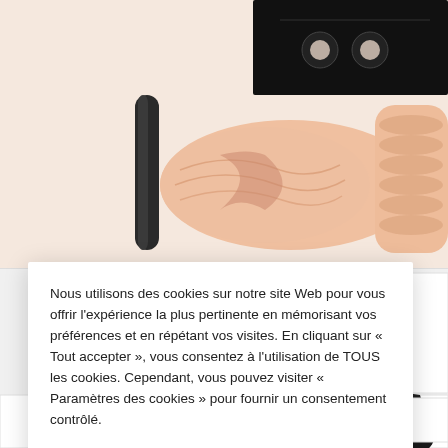[Figure (screenshot): Background e-commerce product page showing adult toys — flesh-colored products on pink/beige background, black product box top-right, black vibrator bottom-right panel, with partially visible product grid]
Nous utilisons des cookies sur notre site Web pour vous offrir l'expérience la plus pertinente en mémorisant vos préférences et en répétant vos visites. En cliquant sur « Tout accepter », vous consentez à l'utilisation de TOUS les cookies. Cependant, vous pouvez visiter « Paramètres des cookies » pour fournir un consentement contrôlé.
Cookie Settings
Tout accepter
Refuser
tails